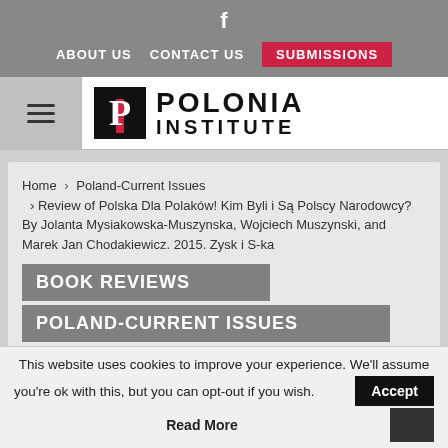f  ABOUT US  CONTACT US  SUBMISSIONS
[Figure (logo): Polonia Institute logo with hamburger menu icon]
Home > Poland-Current Issues > Review of Polska Dla Polaków! Kim Byli i Są Polscy Narodowcy? By Jolanta Mysiakowska-Muszynska, Wojciech Muszynski, and Marek Jan Chodakiewicz. 2015. Zysk i S-ka
BOOK REVIEWS
POLAND-CURRENT ISSUES
RECOMMENDED
This website uses cookies to improve your experience. We'll assume you're ok with this, but you can opt-out if you wish.  Accept  Read More